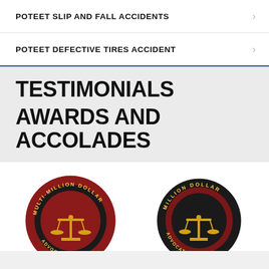POTEET SLIP AND FALL ACCIDENTS
POTEET DEFECTIVE TIRES ACCIDENT
TESTIMONIALS
AWARDS AND ACCOLADES
[Figure (illustration): Two circular award badge seals side by side. Left seal: dark red and black ring with gold scales of justice icon, text reading 'MULTI-MILLION DOLLAR' around the top. Right seal: black ring with dark red inner circle, gold scales of justice icon, text reading 'MILLION DOLLAR ADVOCATES FORUM' around the ring.]